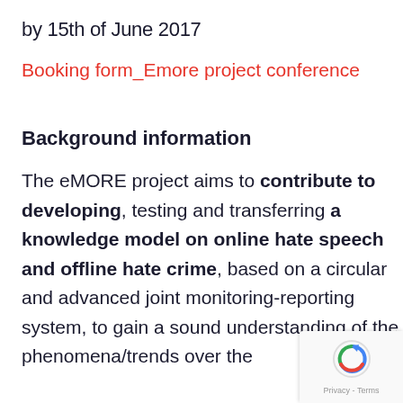by 15th of June 2017
Booking form_Emore project conference
Background information
The eMORE project aims to contribute to developing, testing and transferring a knowledge model on online hate speech and offline hate crime, based on a circular and advanced joint monitoring-reporting system, to gain a sound understanding of the phenomena/trends over the